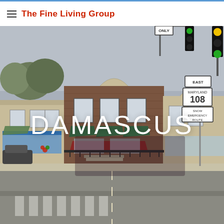The Fine Living Group
[Figure (photo): Street-level photograph of Damascus, Maryland downtown area showing brick commercial buildings with green awnings, a road sign for East Maryland 108 Snow Emergency Route, traffic lights, and an intersection with crosswalk markings. Overcast sky with bare trees visible.]
DAMASCUS